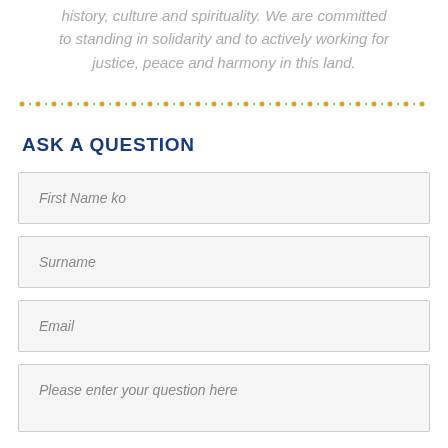history, culture and spirituality. We are committed to standing in solidarity and to actively working for justice, peace and harmony in this land.
[Figure (other): Decorative dotted line divider in gold/yellow color]
ASK A QUESTION
First Name ko
Surname
Email
Please enter your question here